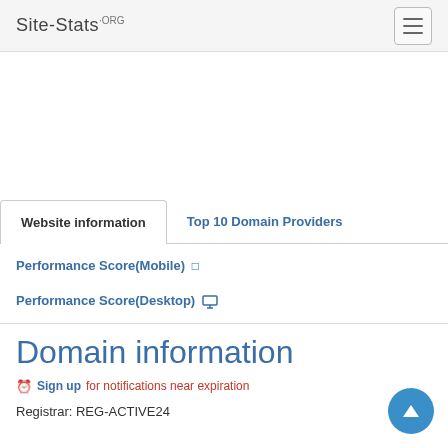Site-Stats.ORG
Website information
Top 10 Domain Providers
Performance Score(Mobile) □
Performance Score(Desktop) ☐
Domain information
⏰ Sign up for notifications near expiration
Registrar: REG-ACTIVE24